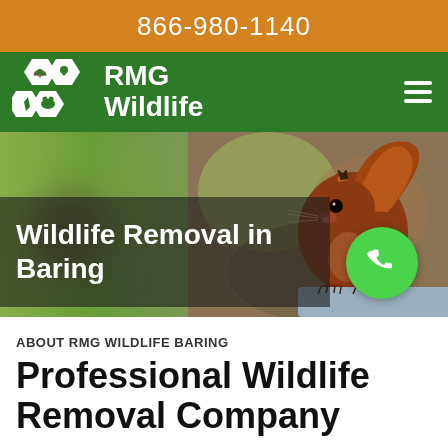866-980-1140
[Figure (logo): RMG Wildlife logo with hexagonal icons showing wildlife silhouettes and company name in white on green background]
[Figure (photo): Hero image of a red squirrel perched on a ledge against a blurred green and brown background, with overlay text 'Wildlife Removal in Baring' and a green phone call button]
ABOUT RMG WILDLIFE BARING
Professional Wildlife Removal Company